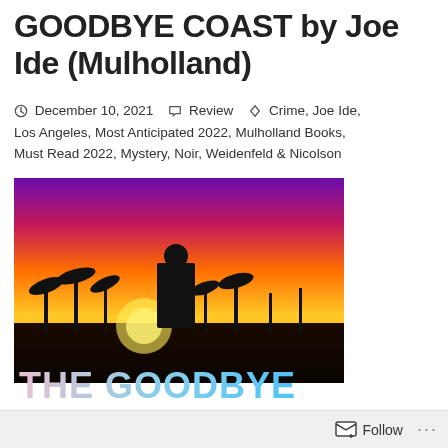GOODBYE COAST by Joe Ide (Mulholland)
December 10, 2021  Review  Crime, Joe Ide, Los Angeles, Most Anticipated 2022, Mulholland Books, Must Read 2022, Mystery, Noir, Weidenfeld & Nicolson
[Figure (photo): Book cover of 'The Goodbye Coast' by Joe Ide — a silhouette of a man in a suit standing against a vivid sunset sky with palm trees, with the title 'THE GOODBYE COAST' in large letters at the bottom]
Follow